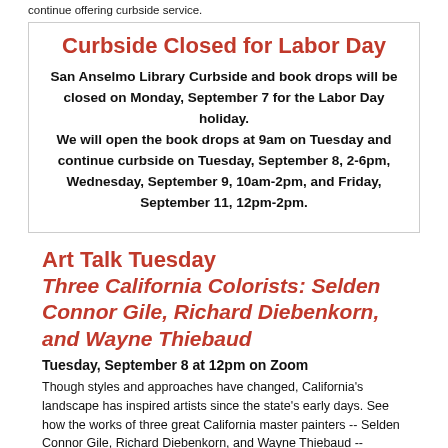continue offering curbside service.
Curbside Closed for Labor Day
San Anselmo Library Curbside and book drops will be closed on Monday, September 7 for the Labor Day holiday. We will open the book drops at 9am on Tuesday and continue curbside on Tuesday, September 8, 2-6pm, Wednesday, September 9, 10am-2pm, and Friday, September 11, 12pm-2pm.
Art Talk Tuesday
Three California Colorists: Selden Connor Gile, Richard Diebenkorn, and Wayne Thiebaud
Tuesday, September 8 at 12pm on Zoom
Though styles and approaches have changed, California's landscape has inspired artists since the state's early days. See how the works of three great California master painters -- Selden Connor Gile, Richard Diebenkorn, and Wayne Thiebaud -- respond to the stunning land around us with guest speaker Avril Angevine.
Email sleyland@townofsananselmo.org to register and get